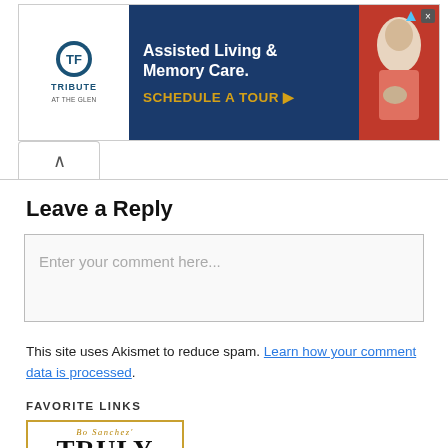[Figure (screenshot): Advertisement banner for Tribute at the Glen assisted living facility featuring logo, headline text 'Assisted Living & Memory Care. SCHEDULE A TOUR ▶', and photo of elderly woman with cat]
Leave a Reply
Enter your comment here...
This site uses Akismet to reduce spam. Learn how your comment data is processed.
FAVORITE LINKS
[Figure (photo): Book cover for Bo Sanchez' Truly Rich Club showing the title 'TRULY RICH' in large black serif text with gold border]